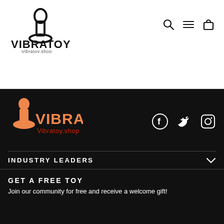[Figure (logo): Vibratoy logo with phallic icon in black and text 'VIBRATOY Vibratoy.shop' in black]
[Figure (infographic): Navigation icons: search (magnifying glass), hamburger menu, shopping bag]
[Figure (logo): Vibratoy footer logo with phallic icon in orange and text 'VIBRATOY' in orange/red gradient and 'Vibratoy.shop' in red]
[Figure (infographic): Social media icons: Facebook, Twitter, Instagram in white]
INDUSTRY LEADERS
GET A FREE TOY
Join our community for free and receive a welcome gift!